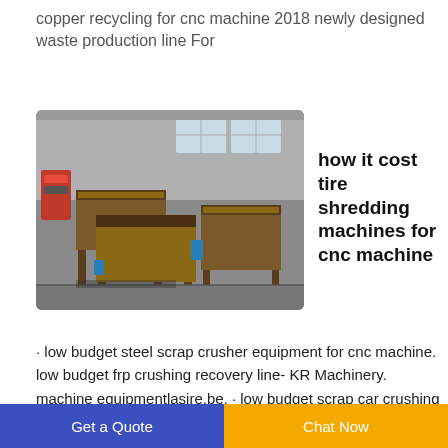copper recycling for cnc machine 2018 newly designed waste production line For
[Figure (photo): Industrial workshop showing multiple large flat metal conveyor/sorting tables or shredding machines lined up in a factory setting.]
how it cost tire shredding machines for cnc machine
· low budget steel scrap crusher equipment for cnc machine. low budget frp crushing recovery line- KR Machinery. machine equipmentlasire.be. · low budget scrap car crushing for resource renewal resources what is cost of plastic barrel crusher for sale australia southwire
Get a Quote  Chat Now